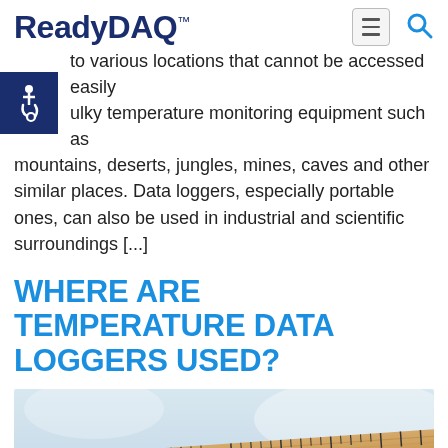ReadyDAQ™
to various locations that cannot be accessed easily bulky temperature monitoring equipment such as mountains, deserts, jungles, mines, caves and other similar places. Data loggers, especially portable ones, can also be used in industrial and scientific surroundings [...]
WHERE ARE TEMPERATURE DATA LOGGERS USED?
[Figure (photo): Close-up photograph of a wooden thermometer showing temperature scale markings from 10 to 40 degrees, with a blue liquid column visible.]